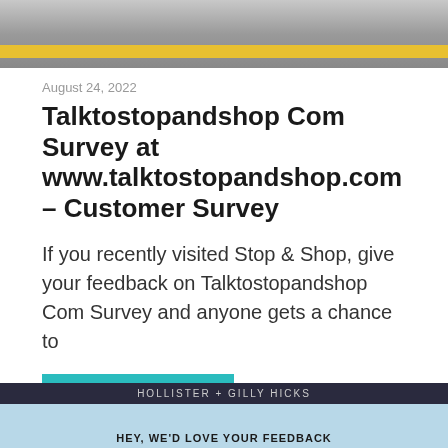[Figure (photo): Top portion of a photo showing what appears to be a parking lot or street scene with a yellow bar/barrier at the bottom]
August 24, 2022
Talktostopandshop Com Survey at www.talktostopandshop.com – Customer Survey
If you recently visited Stop & Shop, give your feedback on Talktostopandshop Com Survey and anyone gets a chance to
Continue reading »
[Figure (screenshot): Bottom portion showing a Hollister + Gilly Hicks advertisement with text 'HEY, WE'D LOVE YOUR FEEDBACK']